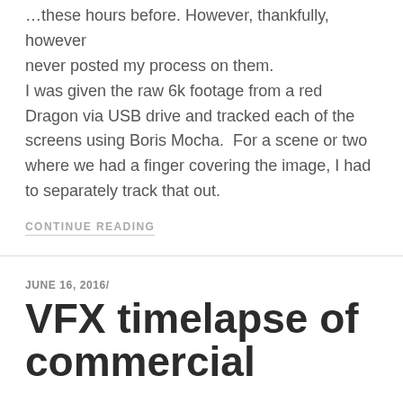never posted my process on them.
I was given the raw 6k footage from a red Dragon via USB drive and tracked each of the screens using Boris Mocha.  For a scene or two where we had a finger covering the image, I had to separately track that out.
CONTINUE READING
JUNE 16, 2016/
VFX timelapse of commercial
Last Month I was fortunate enough to work on some VFX shots for a local company- Flip 11.  My tasks were to:
1. Create “a perfect storm” of clouds coming in